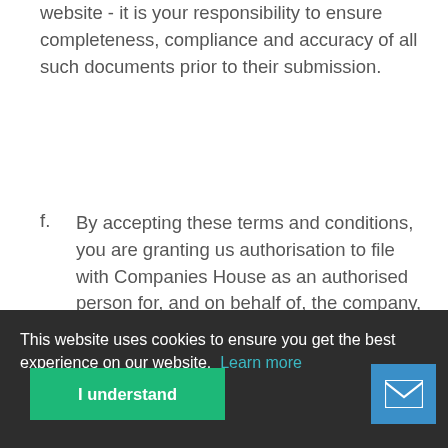website - it is your responsibility to ensure completeness, compliance and accuracy of all such documents prior to their submission.
f. By accepting these terms and conditions, you are granting us authorisation to file with Companies House as an authorised person for, and on behalf of, the company, the statutory forms required to implement the services you are agreeing to take under this agreement for the full term of the agreement. If said services are cancelled, terminated, or shall expire as a
This website uses cookies to ensure you get the best experience on our website. Learn more